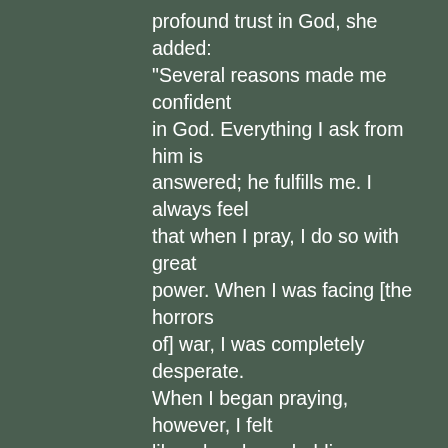profound trust in God, she added: "Several reasons made me confident in God. Everything I ask from him is answered; he fulfills me. I always feel that when I pray, I do so with great power. When I was facing [the horrors of] war, I was completely desperate. When I began praying, however, I felt like a hand was holding my hand and telling me, 'I'm with you in every situation.' I feel that God is in and arranges my life — so much so that I do not care how my life will end up. God still exists." The profound trust that radiates within Hala's witness of faith recalls the poem of St. Teresa of Ávila: "Let nothing trouble you; let nothing frighten you. All is fleeting. God alone